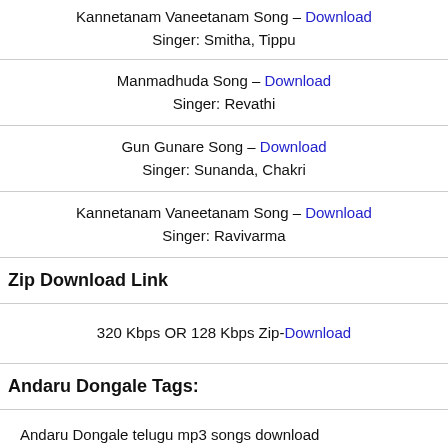Kannetanam Vaneetanam Song – Download
Singer: Smitha, Tippu
Manmadhuda Song – Download
Singer: Revathi
Gun Gunare Song – Download
Singer: Sunanda, Chakri
Kannetanam Vaneetanam Song – Download
Singer: Ravivarma
Zip Download Link
320 Kbps OR 128 Kbps Zip-Download
Andaru Dongale Tags:
Andaru Dongale telugu mp3 songs download